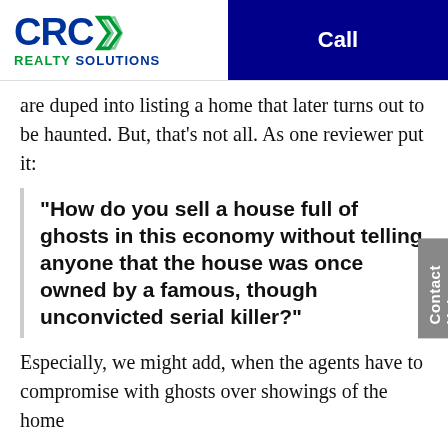CRC Realty Solutions | Call
are duped into listing a home that later turns out to be haunted. But, that's not all. As one reviewer put it:
“How do you sell a house full of ghosts in this economy without telling anyone that the house was once owned by a famous, though unconvicted serial killer?”
Especially, we might add, when the agents have to compromise with ghosts over showings of the home